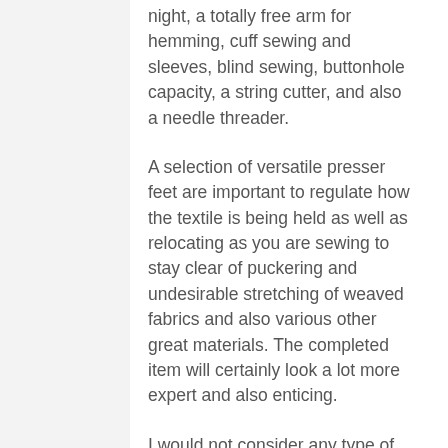night, a totally free arm for hemming, cuff sewing and sleeves, blind sewing, buttonhole capacity, a string cutter, and also a needle threader.
A selection of versatile presser feet are important to regulate how the textile is being held as well as relocating as you are sewing to stay clear of puckering and undesirable stretching of weaved fabrics and also various other great materials. The completed item will certainly look a lot more expert and also enticing.
I would not consider any type of machine that does not come geared up with at the very least 6-10 integrated stitches, a zipper foot, totally free arm, drop-in